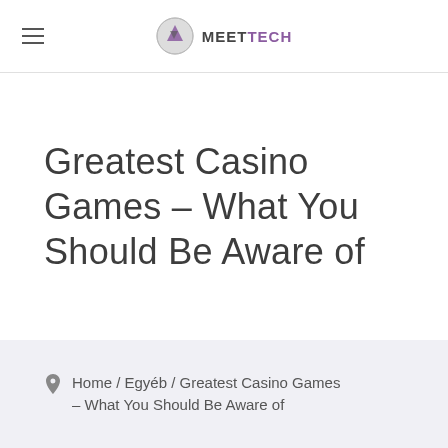MEETTECH
Greatest Casino Games – What You Should Be Aware of
Home / Egyéb / Greatest Casino Games – What You Should Be Aware of